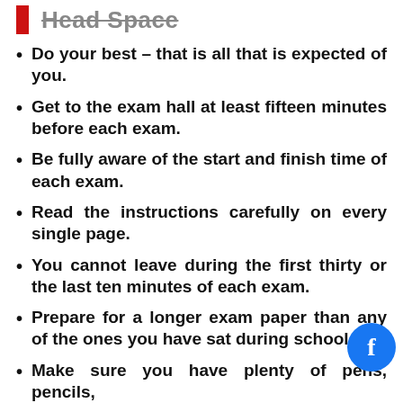Head Space
Do your best – that is all that is expected of you.
Get to the exam hall at least fifteen minutes before each exam.
Be fully aware of the start and finish time of each exam.
Read the instructions carefully on every single page.
You cannot leave during the first thirty or the last ten minutes of each exam.
Prepare for a longer exam paper than any of the ones you have sat during school.
Make sure you have plenty of pens, pencils,